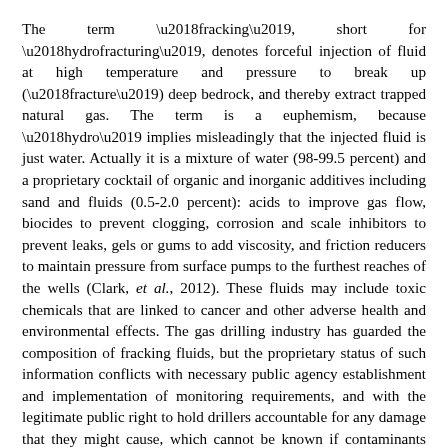The term ‘fracking’, short for ‘hydrofracturing’, denotes forceful injection of fluid at high temperature and pressure to break up (‘fracture’) deep bedrock, and thereby extract trapped natural gas. The term is a euphemism, because ‘hydro’ implies misleadingly that the injected fluid is just water. Actually it is a mixture of water (98-99.5 percent) and a proprietary cocktail of organic and inorganic additives including sand and fluids (0.5-2.0 percent): acids to improve gas flow, biocides to prevent clogging, corrosion and scale inhibitors to prevent leaks, gels or gums to add viscosity, and friction reducers to maintain pressure from surface pumps to the furthest reaches of the wells (Clark, et al., 2012). These fluids may include toxic chemicals that are linked to cancer and other adverse health and environmental effects. The gas drilling industry has guarded the composition of fracking fluids, but the proprietary status of such information conflicts with necessary public agency establishment and implementation of monitoring requirements, and with the legitimate public right to hold drillers accountable for any damage that they might cause, which cannot be known if contaminants detected cannot be matched to fracking substances injected into gas wells.
New technologies now enable horizontal drilling in all radial directions, like spokes of a bicycle wheel, from the base of a vertical shaft, producing a shaped array of horizontal shafts miles beneath groundwater aquifers to deliver fracking fluids